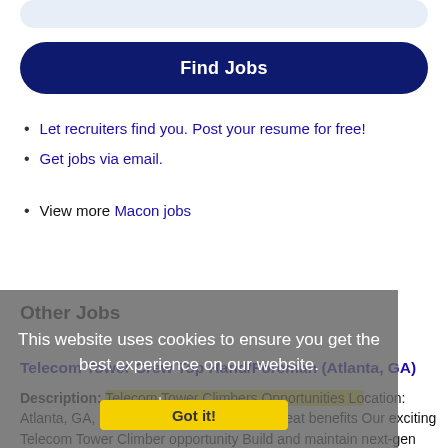Find Jobs
Let recruiters find you. Post your resume for free!
Get jobs via email.
View more Macon jobs
This website uses cookies to ensure you get the best experience on our website.
Learn more
Other Jobs
Telecom Tower Crew Top Hand/Foreman (Atlanta, GA)
Description: Telecom Tower Climbers Opportunities Location: Atlanta, GA, US Job type: Full time, with great benefits Our exciting Telecom Tower Climber opportunity Build and maintain next-gen technologies that power (more...)